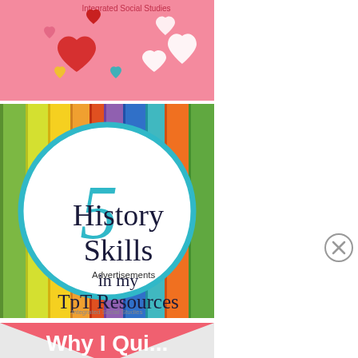[Figure (illustration): Pink background with colorful hearts scattered around and text 'Integrated Social Studies' in pink/red at top center]
[Figure (illustration): Colorful wooden planks/pencils background with a white circle overlay containing text '5 History Skills in my TpT Resources' and 'Integrated Social Studies' watermark at bottom. The number 5 is in teal, remaining text in dark navy serif font.]
[Figure (illustration): Partial view of a pink/salmon triangular banner shape on light gray background with large bold text partially visible reading 'Who I Qui...' (Why I Quit)]
Advertisements